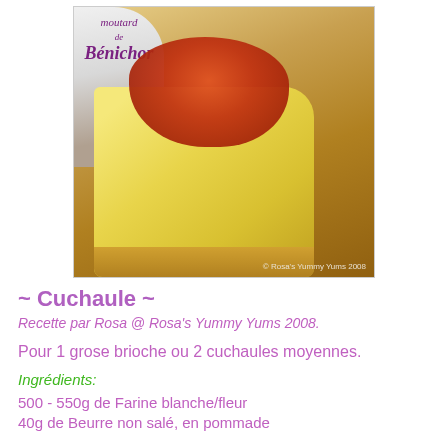[Figure (photo): Photo of a slice of cuchaule brioche bread spread with orange jam/confiture, with a bottle of Moutarde de Bénichon in the background. Watermark: © Rosa's Yummy Yums 2008]
~ Cuchaule ~
Recette par Rosa @ Rosa's Yummy Yums 2008.
Pour 1 grose brioche ou 2 cuchaules moyennes.
Ingrédients:
500 - 550g de Farine blanche/fleur
40g de Beurre non salé, en pommade